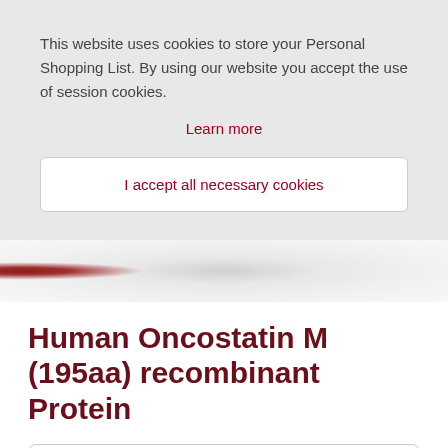This website uses cookies to store your Personal Shopping List. By using our website you accept the use of session cookies.
Learn more
I accept all necessary cookies
[Figure (photo): Close-up photo of laboratory glassware and equipment in grayscale tones with a red element on the left edge]
Human Oncostatin M (195aa) recombinant Protein
Search Products  Go